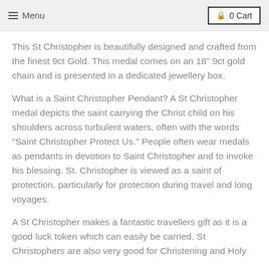Menu   0 Cart
This St Christopher is beautifully designed and crafted from the finest 9ct Gold. This medal comes on an 18" 9ct gold chain and is presented in a dedicated jewellery box.
What is a Saint Christopher Pendant? A St Christopher medal depicts the saint carrying the Christ child on his shoulders across turbulent waters, often with the words "Saint Christopher Protect Us." People often wear medals as pendants in devotion to Saint Christopher and to invoke his blessing. St. Christopher is viewed as a saint of protection, particularly for protection during travel and long voyages.
A St Christopher makes a fantastic travellers gift as it is a good luck token which can easily be carried. St Christophers are also very good for Christening and Holy